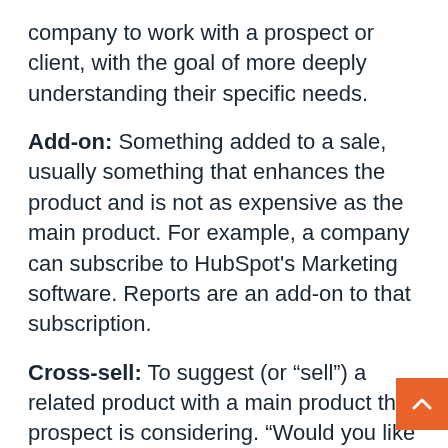company to work with a prospect or client, with the goal of more deeply understanding their specific needs.
Add-on: Something added to a sale, usually something that enhances the product and is not as expensive as the main product. For example, a company can subscribe to HubSpot’s Marketing software. Reports are an add-on to that subscription.
Cross-sell: To suggest (or “sell”) a related product with a main product the prospect is considering. “Would you like fries with that?” is a cross-sell.
Upsell: To suggest (or “sell”) a higher level of a product the prospect is considering. “Would you like…”